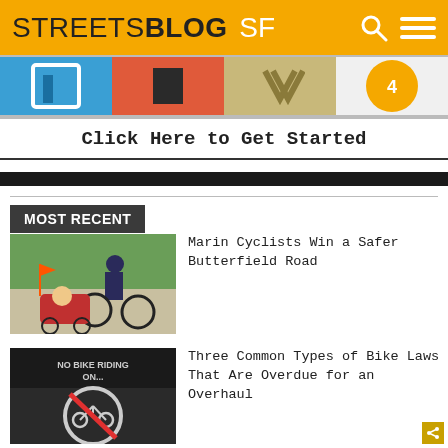STREETSBLOG SF
[Figure (illustration): Navigation icons/banner strip with blue, red, gold and orange colored icon blocks]
Click Here to Get Started
[Figure (other): Dark horizontal divider bar]
MOST RECENT
[Figure (photo): Adult cyclist with child trailer on a path surrounded by trees]
Marin Cyclists Win a Safer Butterfield Road
[Figure (photo): No bike riding sign on pavement with bicycle symbol]
Three Common Types of Bike Laws That Are Overdue for an Overhaul